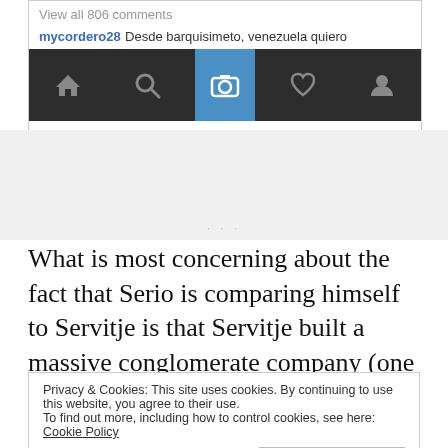[Figure (screenshot): Screenshot of an Instagram-like app showing a comments bar with 'View all 806 comments', a username 'mycordero28' with comment text 'Desde barquisimeto, venezuela quiero', and a navigation bar with home, search, camera (active/highlighted in blue), heart, and profile icons.]
What is most concerning about the fact that Serio is comparing himself to Servitje is that Servitje built a massive conglomerate company (one that is a
Privacy & Cookies: This site uses cookies. By continuing to use this website, you agree to their use.
To find out more, including how to control cookies, see here: Cookie Policy
revenue. Shouldn't he be idolizing someone like Jane